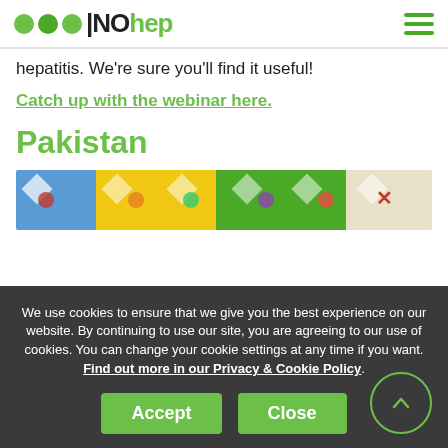NOhep
hepatitis. We're sure you'll find it useful!
Catch up with the webinar here.
Pakistan
[Figure (photo): Board game with colourful tiles related to hepatitis education]
We use cookies to ensure that we give you the best experience on our website. By continuing to use our site, you are agreeing to our use of cookies. You can change your cookie settings at any time if you want. Find out more in our Privacy & Cookie Policy.